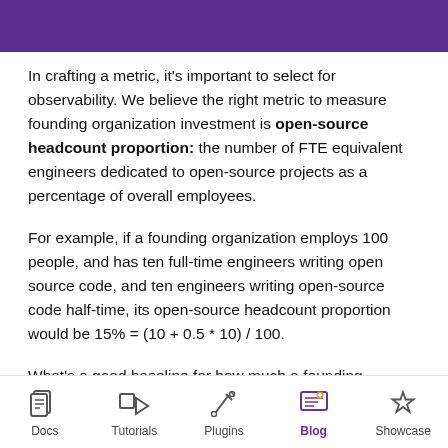In crafting a metric, it's important to select for observability. We believe the right metric to measure founding organization investment is open-source headcount proportion: the number of FTE equivalent engineers dedicated to open-source projects as a percentage of overall employees.
For example, if a founding organization employs 100 people, and has ten full-time engineers writing open source code, and ten engineers writing open-source code half-time, its open-source headcount proportion would be 15% = (10 + 0.5 * 10) / 100.
What's a good baseline for how much a founding organization should invest in open source? We feel a
Docs | Tutorials | Plugins | Blog | Showcase